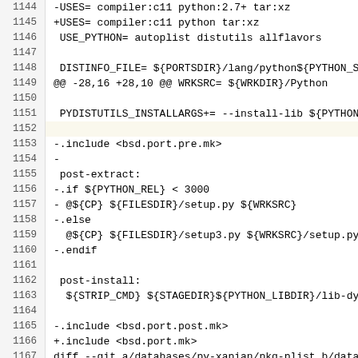1144   -USES=           compiler:c11 python:2.7+ tar:xz
1145   +USES=           compiler:c11 python tar:xz
1146    USE_PYTHON=     autoplist distutils allflavors
1147   (empty)
1148    DISTINFO_FILE= ${PORTSDIR}/lang/python${PYTHON_SUFFIX}/
1149   @@ -28,16 +28,10 @@ WRKSRC=                ${WRKDIR}/Python
1150   (empty)
1151    PYDISTUTILS_INSTALLARGS+=      --install-lib ${PYTHON_L
1152   (highlight empty)
1153   -.include <bsd.port.pre.mk>
1154   -
1155    post-extract:
1156   -.if ${PYTHON_REL} < 3000
1157   -        @${CP} ${FILESDIR}/setup.py ${WRKSRC}
1158   -.else
1159           @${CP} ${FILESDIR}/setup3.py ${WRKSRC}/setup.py
1160   -.endif
1161   (empty)
1162    post-install:
1163           ${STRIP_CMD} ${STAGEDIR}${PYTHON_LIBDIR}/lib-dyn
1164   (empty)
1165   -.include <bsd.port.post.mk>
1166   +.include <bsd.port.mk>
1167   diff --git a/databases/py-xapian/pkg-plist b/databases/p
1168   index 69d8e0d410ba..6e8db2c212b9 100644